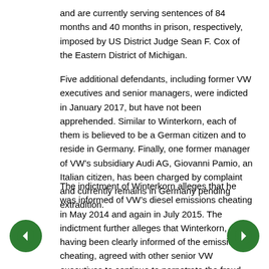and are currently serving sentences of 84 months and 40 months in prison, respectively, imposed by US District Judge Sean F. Cox of the Eastern District of Michigan.
Five additional defendants, including former VW executives and senior managers, were indicted in January 2017, but have not been apprehended. Similar to Winterkorn, each of them is believed to be a German citizen and to reside in Germany. Finally, one former manager of VW’s subsidiary Audi AG, Giovanni Pamio, an Italian citizen, has been charged by complaint and currently remains in Germany pending extradition.
The indictment of Winterkorn alleges that he was informed of VW’s diesel emissions cheating in May 2014 and again in July 2015. The indictment further alleges that Winterkorn, after having been clearly informed of the emissions cheating, agreed with other senior VW executives to continue to perpetrate the fraud and deceive US regulators.